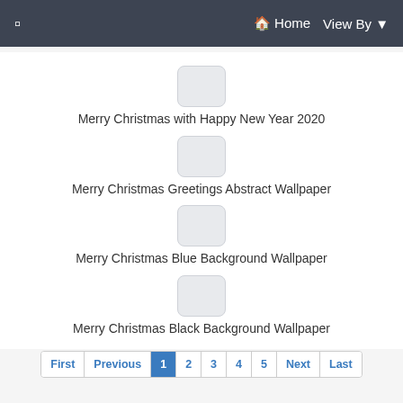☰  Home  View By ▾
[Figure (screenshot): Thumbnail placeholder box for 'Merry Christmas with Happy New Year 2020']
Merry Christmas with Happy New Year 2020
[Figure (screenshot): Thumbnail placeholder box for 'Merry Christmas Greetings Abstract Wallpaper']
Merry Christmas Greetings Abstract Wallpaper
[Figure (screenshot): Thumbnail placeholder box for 'Merry Christmas Blue Background Wallpaper']
Merry Christmas Blue Background Wallpaper
[Figure (screenshot): Thumbnail placeholder box for 'Merry Christmas Black Background Wallpaper']
Merry Christmas Black Background Wallpaper
First  Previous  1  2  3  4  5  Next  Last